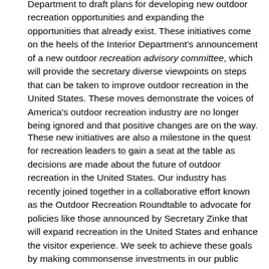Department to draft plans for developing new outdoor recreation opportunities and expanding the opportunities that already exist. These initiatives come on the heels of the Interior Department's announcement of a new outdoor recreation advisory committee, which will provide the secretary diverse viewpoints on steps that can be taken to improve outdoor recreation in the United States. These moves demonstrate the voices of America's outdoor recreation industry are no longer being ignored and that positive changes are on the way.
These new initiatives are also a milestone in the quest for recreation leaders to gain a seat at the table as decisions are made about the future of outdoor recreation in the United States. Our industry has recently joined together in a collaborative effort known as the Outdoor Recreation Roundtable to advocate for policies like those announced by Secretary Zinke that will expand recreation in the United States and enhance the visitor experience. We seek to achieve these goals by making commonsense investments in our public lands and waters that will improve infrastructure—such as campgrounds and lodging facilities—and by supporting balanced policies that conserve federal lands and waterways so that they can be accessed and enjoyed today and by future generations of Americans.